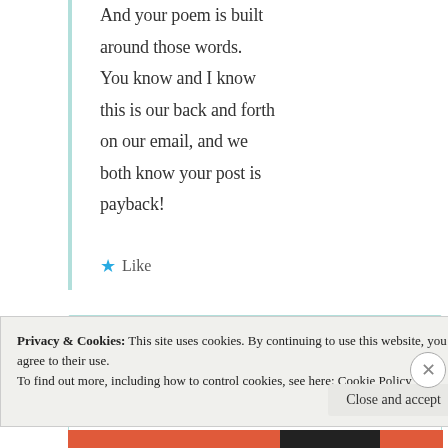And your poem is built around those words. You know and I know this is our back and forth on our email, and we both know your post is payback!
★ Like
Suma Reddy
Privacy & Cookies: This site uses cookies. By continuing to use this website, you agree to their use. To find out more, including how to control cookies, see here: Cookie Policy
Close and accept